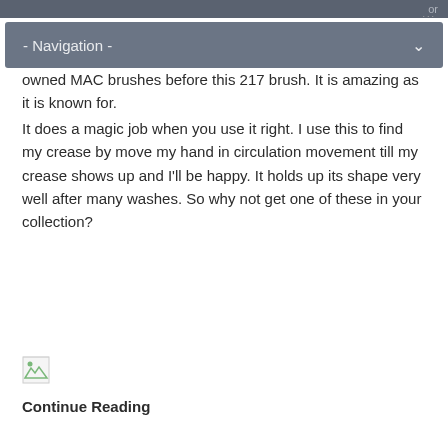- Navigation -
owned MAC brushes before this 217 brush. It is amazing as it is known for.
It does a magic job when you use it right. I use this to find my crease by move my hand in circulation movement till my crease shows up and I'll be happy. It holds up its shape very well after many washes. So why not get one of these in your collection?
[Figure (other): Broken image placeholder icon]
Continue Reading